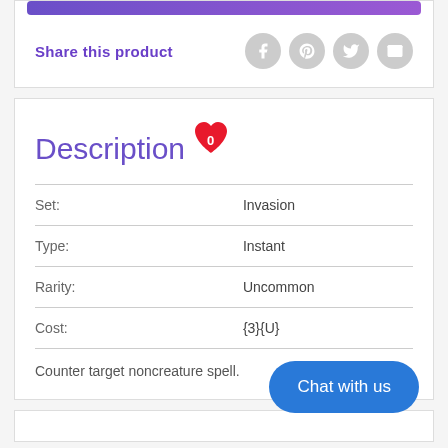[Figure (other): Purple gradient decorative bar at top of product section]
Share this product
[Figure (other): Social share icons: Facebook, Pinterest, Twitter, Email]
Description
[Figure (other): Red heart icon with count 0]
| Set: | Invasion |
| Type: | Instant |
| Rarity: | Uncommon |
| Cost: | {3}{U} |
Counter target noncreature spell.
Chat with us